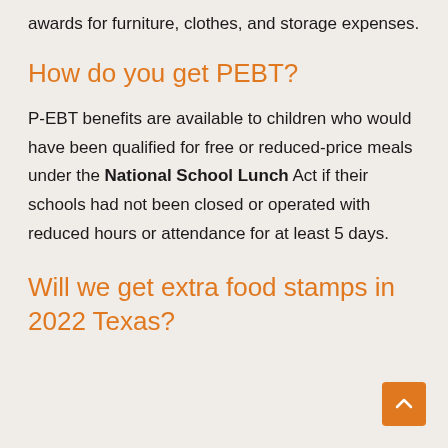awards for furniture, clothes, and storage expenses.
How do you get PEBT?
P-EBT benefits are available to children who would have been qualified for free or reduced-price meals under the National School Lunch Act if their schools had not been closed or operated with reduced hours or attendance for at least 5 days.
Will we get extra food stamps in 2022 Texas?